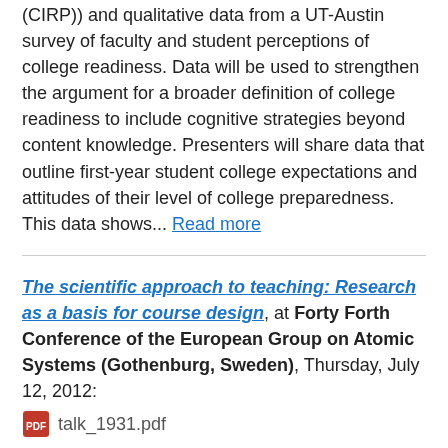(CIRP)) and qualitative data from a UT-Austin survey of faculty and student perceptions of college readiness. Data will be used to strengthen the argument for a broader definition of college readiness to include cognitive strategies beyond content knowledge. Presenters will share data that outline first-year student college expectations and attitudes of their level of college preparedness. This data shows... Read more
The scientific approach to teaching: Research as a basis for course design, at Forty Forth Conference of the European Group on Atomic Systems (Gothenburg, Sweden), Thursday, July 12, 2012:
talk_1931.pdf
Discussions of teaching -- even some publications -- abound with anecdotal evidence. Our intuition often supplants a systematic, scientific approach to finding out what works and